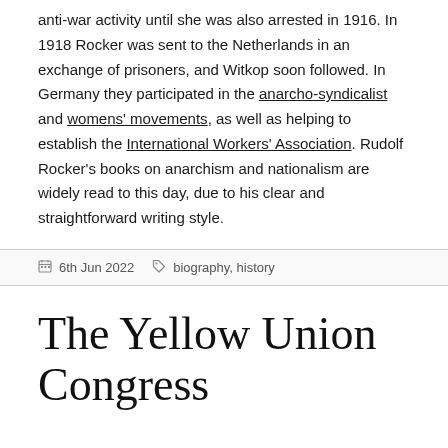anti-war activity until she was also arrested in 1916. In 1918 Rocker was sent to the Netherlands in an exchange of prisoners, and Witkop soon followed. In Germany they participated in the anarcho-syndicalist and womens' movements, as well as helping to establish the International Workers' Association. Rudolf Rocker's books on anarchism and nationalism are widely read to this day, due to his clear and straightforward writing style.
6th Jun 2022  biography, history
The Yellow Union Congress